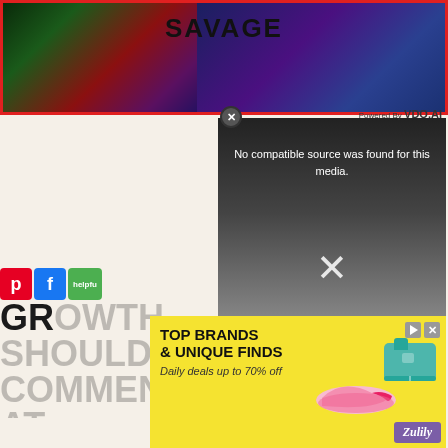[Figure (screenshot): Top banner with SAVAGE title over colorful illustrated background with red border]
SAVAGE
Powered By VDO.AI
[Figure (screenshot): Video player overlay showing error: 'No compatible source was found for this media.' with 'What is the Internet Of Things?' text and X close button]
No compatible source was found for this media.
What is the Internet Of Things ?
[Figure (screenshot): Social media share buttons: Pinterest (red P), Facebook (blue f), and green helpful button]
GROWTH SHOULD COMMENCE AT
[Figure (screenshot): Advertisement banner with yellow background showing TOP BRANDS & UNIQUE FINDS, Daily deals up to 70% off, with product images (shoe and bag) and Zulily logo]